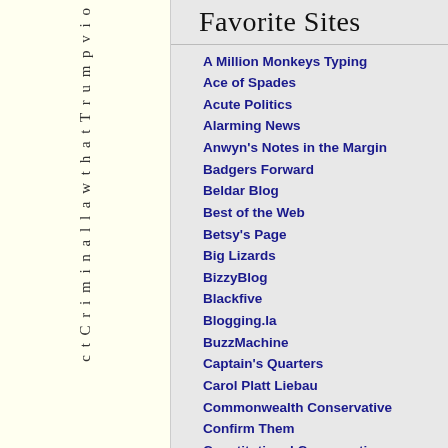c t C r i m i n a l l a w t h a t T r u m p v i o
Favorite Sites
A Million Monkeys Typing
Ace of Spades
Acute Politics
Alarming News
Anwyn's Notes in the Margin
Badgers Forward
Beldar Blog
Best of the Web
Betsy's Page
Big Lizards
BizzyBlog
Blackfive
Blogging.la
BuzzMachine
Captain's Quarters
Carol Platt Liebau
Commonwealth Conservative
Confirm Them
Constitutional Conservative
Cop the Truth
Countercolumn
Dan Weintraub
DANEgerus
Dave Barry
Day by Day
Dead Parrot Society
Dean's World
Dispatches from the Culture Wars
Doc Rampage
Don Surber